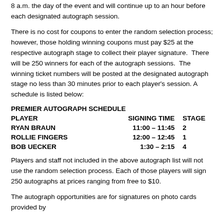8 a.m. the day of the event and will continue up to an hour before each designated autograph session.
There is no cost for coupons to enter the random selection process; however, those holding winning coupons must pay $25 at the respective autograph stage to collect their player signature. There will be 250 winners for each of the autograph sessions. The winning ticket numbers will be posted at the designated autograph stage no less than 30 minutes prior to each player’s session. A schedule is listed below:
PREMIER AUTOGRAPH SCHEDULE
| PLAYER | SIGNING TIME | STAGE |
| --- | --- | --- |
| RYAN BRAUN | 11:00 – 11:45 | 2 |
| ROLLIE FINGERS | 12:00 – 12:45 | 1 |
| BOB UECKER | 1:30 – 2:15 | 4 |
Players and staff not included in the above autograph list will not use the random selection process. Each of those players will sign 250 autographs at prices ranging from free to $10.
The autograph opportunities are for signatures on photo cards provided by